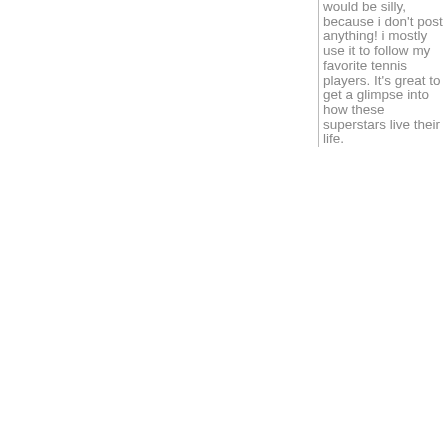would be silly, because i don't post anything! i mostly use it to follow my favorite tennis players. It's great to get a glimpse into how these superstars live their life.